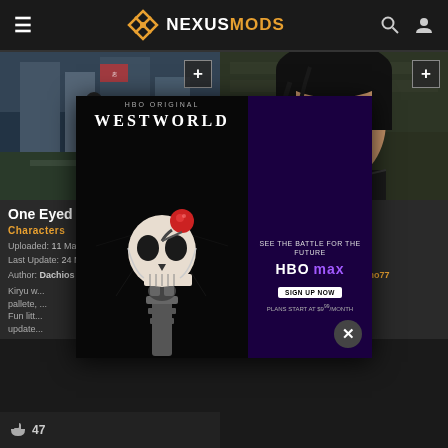NEXUSMODS
[Figure (screenshot): Game screenshot showing a street scene with a character in dark clothing, urban Japanese setting – One Eyed Dragon mod thumbnail]
[Figure (screenshot): Game screenshot showing a character with dark hair in a leather jacket – YK2 Playable Yagami mod thumbnail]
One Eyed Dragon
Characters
Uploaded: 11 May 2021 |
Last Update: 24 May 2021 |
Author: Dachios | Uploader: Dachios
Kiryu w... pallete, ... Fun litt... update...
YK2 Playable Yagami
Characters
Uploaded: 15 Apr 2021 |
Last Update: 10 May 2021 |
Author: RyTmo77 | Uploader: RyTmo77
...agami ...do it. ...oc we'll
[Figure (advertisement): Westworld HBO Max advertisement with skull imagery and 'See the Battle for the Future' text. HBO Max sign up now, plans start at $9.99/month]
47